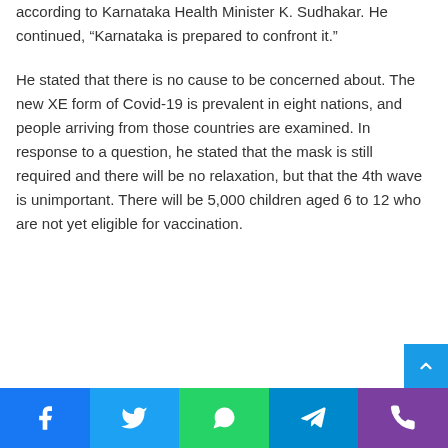according to Karnataka Health Minister K. Sudhakar. He continued, “Karnataka is prepared to confront it.”
He stated that there is no cause to be concerned about. The new XE form of Covid-19 is prevalent in eight nations, and people arriving from those countries are examined. In response to a question, he stated that the mask is still required and there will be no relaxation, but that the 4th wave is unimportant. There will be 5,000 children aged 6 to 12 who are not yet eligible for vaccination.